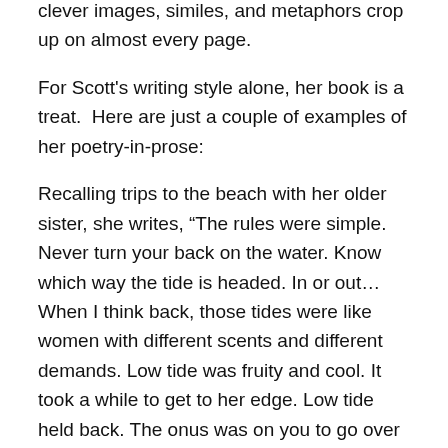clever images, similes, and metaphors crop up on almost every page.
For Scott's writing style alone, her book is a treat.  Here are just a couple of examples of her poetry-in-prose:
Recalling trips to the beach with her older sister, she writes, “The rules were simple. Never turn your back on the water. Know which way the tide is headed. In or out… When I think back, those tides were like women with different scents and different demands. Low tide was fruity and cool. It took a while to get to her edge. Low tide held back. The onus was on you to go over to her. High tide smelled of heat that built up. It was Chanel No. 5 to her drugstore opposite. She went after you in no uncertain terms.”
In describing her house, Scott takes a single sentence that